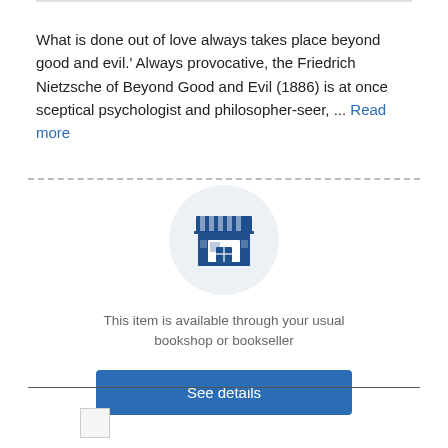What is done out of love always takes place beyond good and evil.' Always provocative, the Friedrich Nietzsche of Beyond Good and Evil (1886) is at once sceptical psychologist and philosopher-seer, ... Read more
[Figure (illustration): Store/shop icon: a simplified building with a striped awning and a display window, inside a light grey circle, representing a bookshop or bookseller.]
This item is available through your usual bookshop or bookseller
See details
[Figure (illustration): Small image placeholder at bottom left of the page, partially visible.]